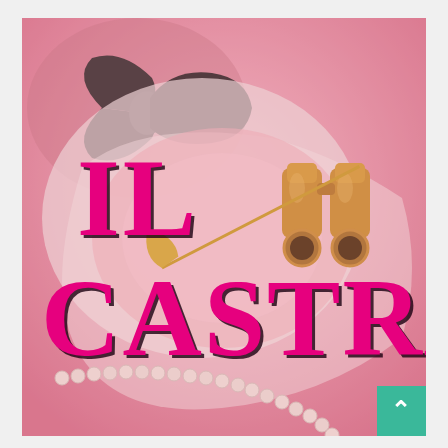[Figure (illustration): Book cover image for 'Il Castrato'. Background shows a pink-tinted photo of opera accessories including a black bow tie, white gloves, pearl necklace, gold opera binoculars, and a quill pen. Overlaid in large decorative serif font is the title 'Il Castrato' in magenta/hot pink color with dark outline. In the bottom right corner is a teal/green square button with a white upward-pointing chevron arrow.]